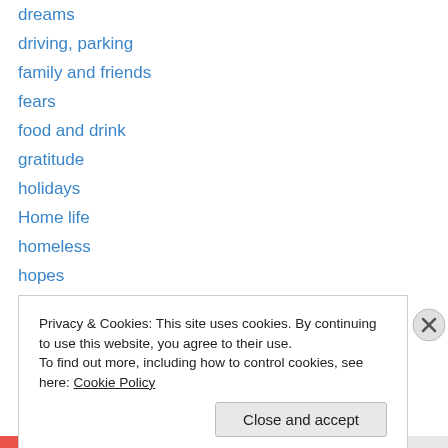dreams
driving, parking
family and friends
fears
food and drink
gratitude
holidays
Home life
homeless
hopes
Ireland
leukemia
medicine
military
Privacy & Cookies: This site uses cookies. By continuing to use this website, you agree to their use.
To find out more, including how to control cookies, see here: Cookie Policy
Close and accept